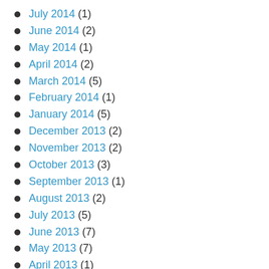July 2014 (1)
June 2014 (2)
May 2014 (1)
April 2014 (2)
March 2014 (5)
February 2014 (1)
January 2014 (5)
December 2013 (2)
November 2013 (2)
October 2013 (3)
September 2013 (1)
August 2013 (2)
July 2013 (5)
June 2013 (7)
May 2013 (7)
April 2013 (1)